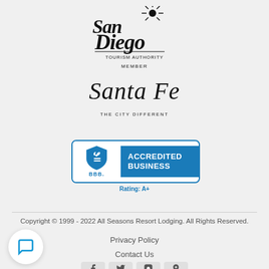[Figure (logo): San Diego Tourism Authority Member logo in black script with sun icon]
[Figure (logo): Santa Fe - The City Different logo in italic script]
[Figure (logo): BBB Accredited Business Rating A+ badge with blue shield]
Copyright © 1999 - 2022 All Seasons Resort Lodging. All Rights Reserved.
Privacy Policy
Contact Us
[Figure (other): Social media icons: Facebook, Twitter, Instagram, and one more]
[Figure (other): Chat widget button at bottom left]